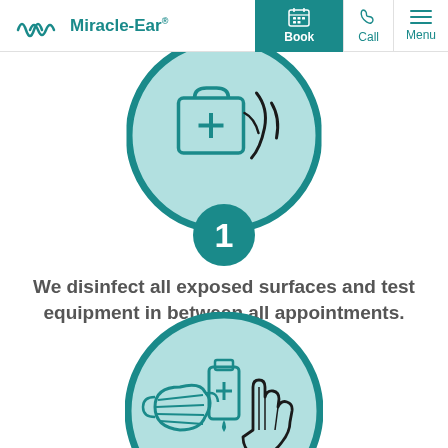Miracle-Ear | Book | Call | Menu
[Figure (illustration): Teal circular icon with light blue background showing a first aid kit with cross symbol and cleaning/disinfection imagery]
[Figure (illustration): Teal circle badge with number 1]
We disinfect all exposed surfaces and test equipment in between all appointments.
[Figure (illustration): Teal circular icon with light blue background showing a face mask, hand sanitizer dispenser with plus symbol, and a gloved hand]